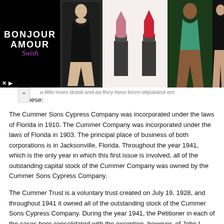[Figure (photo): Advertisement banner showing 'Bonjour Amour Swish' brand with models in swimwear and lipstick products on black background]
...a little more detail and as they have been stipulated are these:
The Cummer Sons Cypress Company was incorporated under the laws of Florida in 1910. The Cummer Company was incorporated under the laws of Florida in 1903. The principal place of business of both corporations is in Jacksonville, Florida. Throughout the year 1941, which is the only year in which this first issue is involved, all of the outstanding capital stock of the Cummer Company was owned by the Cummer Sons Cypress Company.
The Cummer Trust is a voluntary trust created on July 19, 1928, and throughout 1941 it owned all of the outstanding stock of the Cummer Sons Cypress Company. During the year 1941, the Petitioner in each of the cases here consolidated with the exception, however, of John L. Roe, Sr., were beneficiaries of this trust.
On March 1, 1913, the Cummer Company was the owner of large tracts